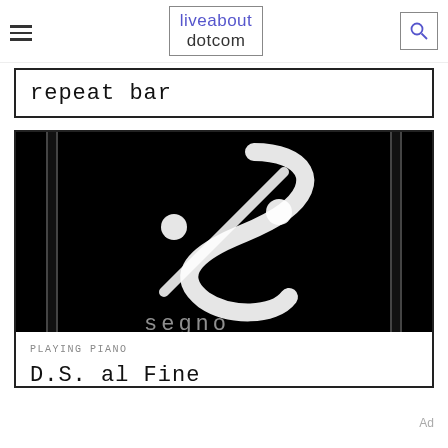liveabout dotcom
repeat bar
[Figure (photo): Black and white image showing a segno music symbol with decorative S-shape and dots, with partial text 'segno' at the bottom, representing a musical repeat sign used in sheet music navigation.]
PLAYING PIANO
D.S. al Fine
Ad